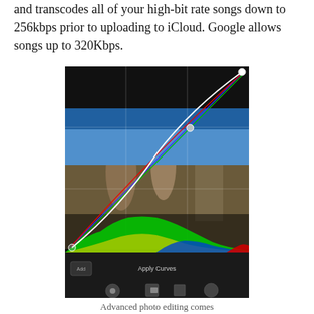and transcodes all of your high-bit rate songs down to 256kbps prior to uploading to iCloud. Google allows songs up to 320Kbps.
[Figure (screenshot): Screenshot of a photo editing app showing a curves adjustment tool overlaid on a photo of architectural rooftop sculptures. The curves panel shows red, green, blue, and white/luminance curves with control points. Below the photo is a histogram showing green, yellow, blue, and red color channels. At the bottom of the screen is a dark toolbar with an 'Apply Curves' button and editing icons.]
Advanced photo editing comes